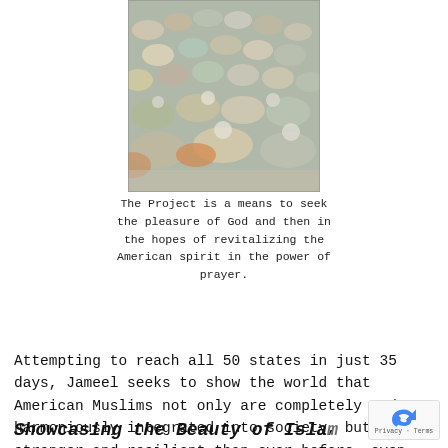[Figure (photo): Large group of people bowing in prayer (Muslim prayer/salat), viewed from above and behind, showing rows of worshippers prostrating on the ground outdoors.]
The Project is a means to seek the pleasure of God and then in the hopes of revitalizing the American spirit in the power of prayer.
Attempting to reach all 50 states in just 35 days, Jameel seeks to show the world that American Muslims not only are completely and harmoniously integrated into society, but are stronger and resilient than ever before, even amidst increased Islamophobia.
Showcasing the Beauty of Islam